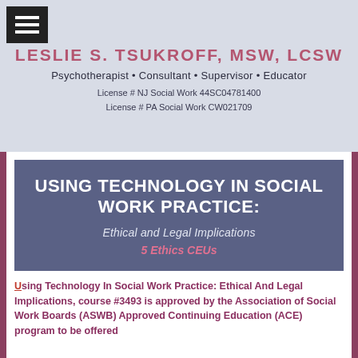LESLIE S. TSUKROFF, MSW, LCSW
Psychotherapist • Consultant • Supervisor • Educator
License # NJ Social Work 44SC04781400
License # PA Social Work CW021709
[Figure (other): Hamburger menu icon (three horizontal white lines on black background)]
USING TECHNOLOGY IN SOCIAL WORK PRACTICE:
Ethical and Legal Implications
5 Ethics CEUs
Using Technology In Social Work Practice: Ethical And Legal Implications, course #3493 is approved by the Association of Social Work Boards (ASWB) Approved Continuing Education (ACE) program to be offered